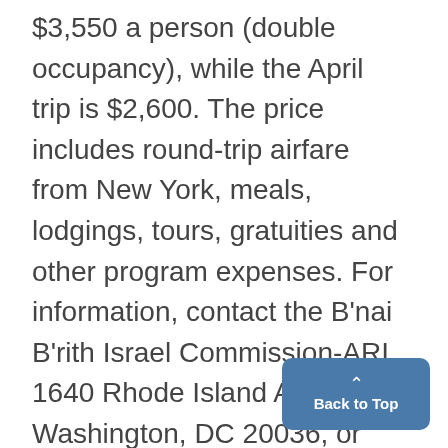$3,550 a person (double occupancy), while the April trip is $2,600. The price includes round-trip airfare from New York, meals, lodgings, tours, gratuities and other program expenses. For information, contact the B'nai B'rith Israel Commission-ARI, 1640 Rhode Island Ave. NW, Washington, DC 20036, or call (202) 857-6584.